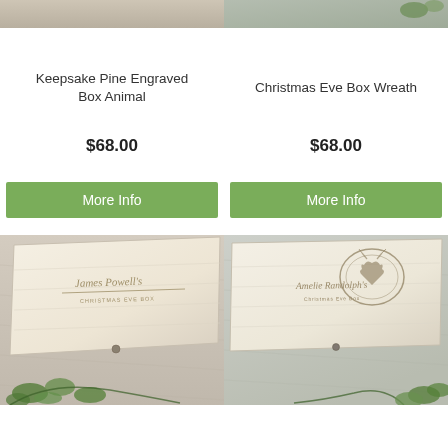[Figure (photo): Top portion of product photo - wooden keepsake box on grey surface]
[Figure (photo): Top portion of product photo - wooden Christmas Eve box with wreath, ivy on grey surface]
Keepsake Pine Engraved Box Animal
Christmas Eve Box Wreath
$68.00
$68.00
More Info
More Info
[Figure (photo): Wooden pine box engraved with cursive name 'James Powell's Christmas Eve Box' on wood grain surface with green ivy decoration]
[Figure (photo): Wooden pine box engraved with wreath design and cursive text 'Amelie Randolph's Christmas Eve Box' with green ivy decoration]